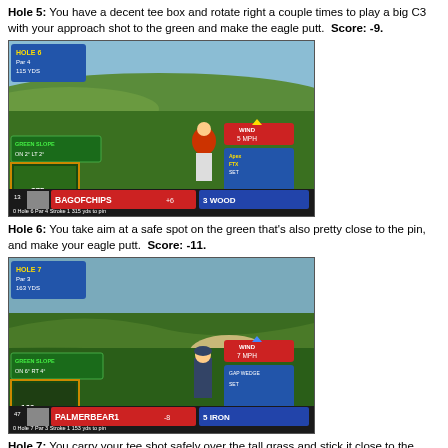Hole 5: You have a decent tee box and rotate right a couple times to play a big C3 with your approach shot to the green and make the eagle putt.  Score: -9.
[Figure (screenshot): Golf video game screenshot showing Hole 6, Par 4, golfer mid-swing, BAGOFCHIPS player at +6, 3 WOOD, 315 yds to pin, Wind 5 MPH, Green Slope ON 2° LT 2°]
Hole 6: You take aim at a safe spot on the green that's also pretty close to the pin, and make your eagle putt.  Score: -11.
[Figure (screenshot): Golf video game screenshot showing Hole 7, Par 3, golfer mid-swing, PALMERBEAR1 player at -8, 5 IRON, 153 yds to pin, Wind 7 MPH, Green Slope ON 6° RT 4°]
Hole 7: You carry your tee shot safely over the tall grass and stick it close to the hole.